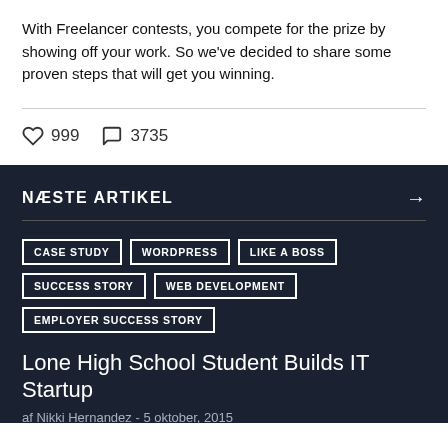With Freelancer contests, you compete for the prize by showing off your work. So we've decided to share some proven steps that will get you winning.
999  3735
NÆSTE ARTIKEL
CASE STUDY
WORDPRESS
LIKE A BOSS
SUCCESS STORY
WEB DEVELOPMENT
EMPLOYER SUCCESS STORY
Lone High School Student Builds IT Startup
af Nikki Hernandez - 5 oktober, 2015